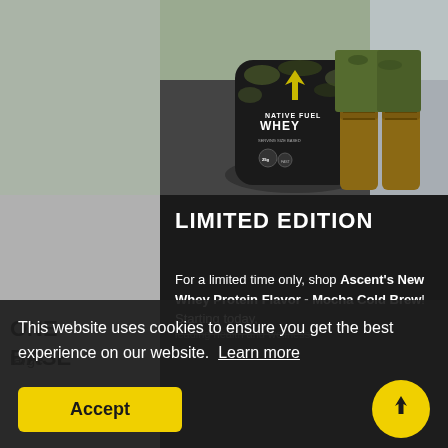[Figure (photo): Product photo of Ascent Native Fuel Whey protein powder bag in camouflage packaging, next to military boots on a dark surface. Background shows gray/beige tones.]
LIMITED EDITION
For a limited time only, shop Ascent's New Whey Protein Flavor - Mocha Cold Brew! Starting today,
ONE
BAS
25g
This website uses cookies to ensure you get the best experience on our website.  Learn more
Accept
leading health and wellness
large